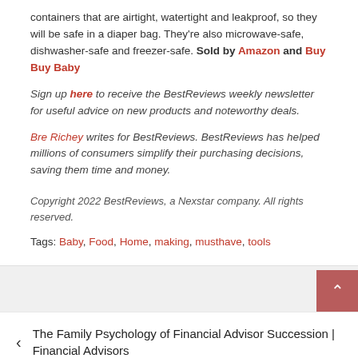containers that are airtight, watertight and leakproof, so they will be safe in a diaper bag. They're also microwave-safe, dishwasher-safe and freezer-safe. Sold by Amazon and Buy Buy Baby
Sign up here to receive the BestReviews weekly newsletter for useful advice on new products and noteworthy deals.
Bre Richey writes for BestReviews. BestReviews has helped millions of consumers simplify their purchasing decisions, saving them time and money.
Copyright 2022 BestReviews, a Nexstar company. All rights reserved.
Tags: Baby, Food, Home, making, musthave, tools
< The Family Psychology of Financial Advisor Succession | Financial Advisors